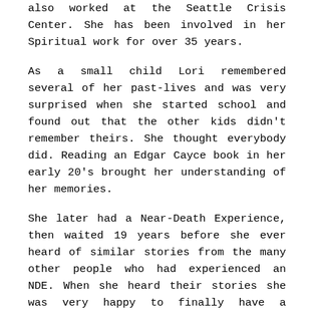also worked at the Seattle Crisis Center. She has been involved in her Spiritual work for over 35 years.
As a small child Lori remembered several of her past-lives and was very surprised when she started school and found out that the other kids didn't remember theirs. She thought everybody did. Reading an Edgar Cayce book in her early 20's brought her understanding of her memories.
She later had a Near-Death Experience, then waited 19 years before she ever heard of similar stories from the many other people who had experienced an NDE. When she heard their stories she was very happy to finally have a confirmation of a very wondrous experience.
As a certified Hypnotherapist, Lori specializes in using past life regressions, Inner-child rescue, NLP, Time-line therapy and working with your Higher Self along with several other modalities, as she is instructed from her